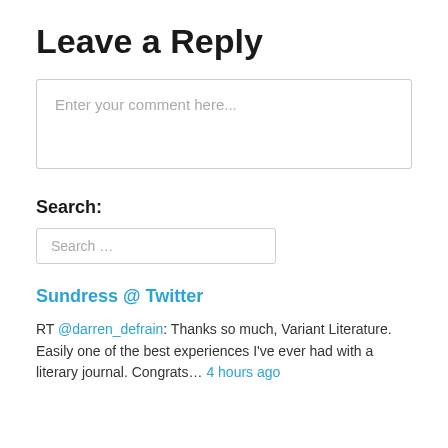Leave a Reply
Enter your comment here...
Search:
Search …
Sundress @ Twitter
RT @darren_defrain: Thanks so much, Variant Literature. Easily one of the best experiences I've ever had with a literary journal. Congrats… 4 hours ago